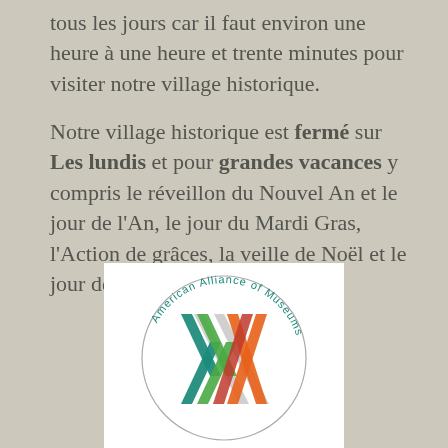tous les jours car il faut environ une heure à une heure et trente minutes pour visiter notre village historique.
Notre village historique est fermé sur Les lundis et pour grandes vacances y compris le réveillon du Nouvel An et le jour de l'An, le jour du Mardi Gras, l'Action de grâces, la veille de Noël et le jour de Noël.
[Figure (logo): American Alliance of Museums circular logo with interlocking geometric ribbon shapes in teal, green, orange, red, and gray]